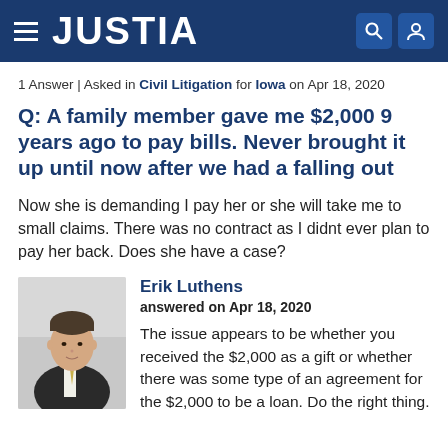JUSTIA
1 Answer | Asked in Civil Litigation for Iowa on Apr 18, 2020
Q: A family member gave me $2,000 9 years ago to pay bills. Never brought it up until now after we had a falling out
Now she is demanding I pay her or she will take me to small claims. There was no contract as I didnt ever plan to pay her back. Does she have a case?
Erik Luthens
answered on Apr 18, 2020
The issue appears to be whether you received the $2,000 as a gift or whether there was some type of an agreement for the $2,000 to be a loan. Do the right thing.